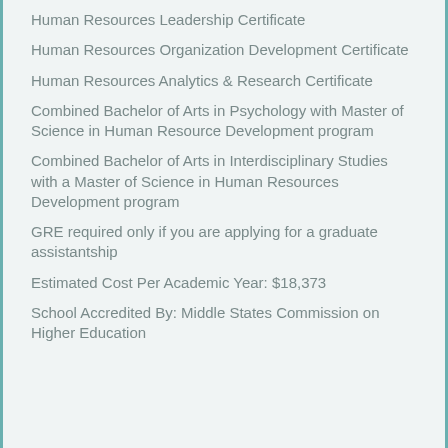Human Resources Leadership Certificate
Human Resources Organization Development Certificate
Human Resources Analytics & Research Certificate
Combined Bachelor of Arts in Psychology with Master of Science in Human Resource Development program
Combined Bachelor of Arts in Interdisciplinary Studies with a Master of Science in Human Resources Development program
GRE required only if you are applying for a graduate assistantship
Estimated Cost Per Academic Year: $18,373
School Accredited By: Middle States Commission on Higher Education